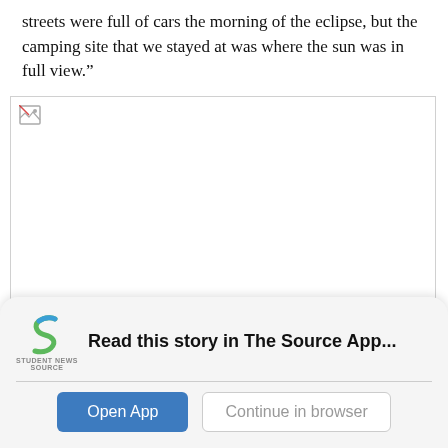streets were full of cars the morning of the eclipse, but the camping site that we stayed at was where the sun was in full view.”
[Figure (photo): Broken/missing image placeholder with small broken image icon in the top-left corner. Image area is blank white with a border.]
Read this story in The Source App...
Open App
Continue in browser